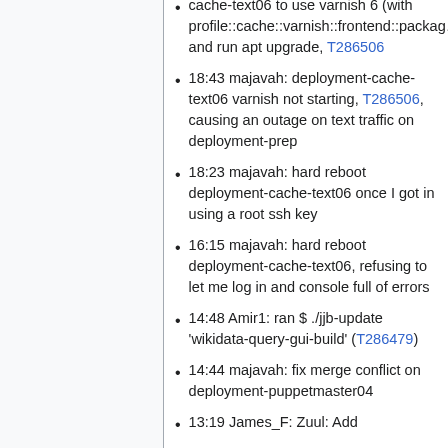cache-text06 to use varnish 6 (with profile::cache::varnish::frontend::package and run apt upgrade, T286506
18:43 majavah: deployment-cache-text06 varnish not starting, T286506, causing an outage on text traffic on deployment-prep
18:23 majavah: hard reboot deployment-cache-text06 once I got in using a root ssh key
16:15 majavah: hard reboot deployment-cache-text06, refusing to let me log in and console full of errors
14:48 Amir1: ran $ ./jjb-update 'wikidata-query-gui-build' (T286479)
14:44 majavah: fix merge conflict on deployment-puppetmaster04
13:19 James_F: Zuul: Add